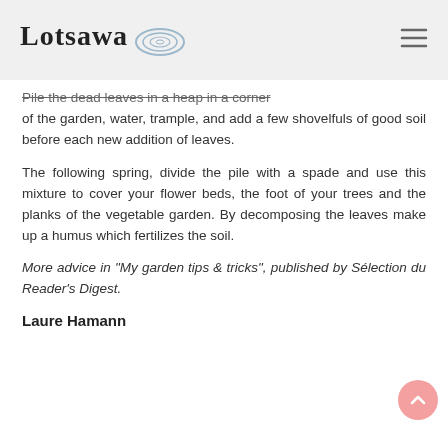Lotsawa [logo]
Pile the dead leaves in a heap in a corner of the garden, water, trample, and add a few shovelfuls of good soil before each new addition of leaves.
The following spring, divide the pile with a spade and use this mixture to cover your flower beds, the foot of your trees and the planks of the vegetable garden. By decomposing the leaves make up a humus which fertilizes the soil.
More advice in "My garden tips & tricks", published by Sélection du Reader's Digest.
Laure Hamann